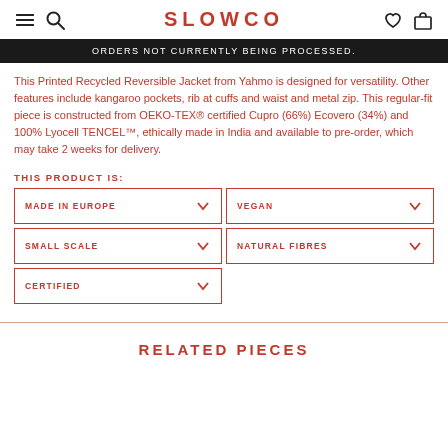SLOWCO
ORDERS NOT CURRENTLY BEING PROCESSED.
This Printed Recycled Reversible Jacket from Yahmo is designed for versatility. Other features include kangaroo pockets, rib at cuffs and waist and metal zip. This regular-fit piece is constructed from OEKO-TEX® certified Cupro (66%) Ecovero (34%) and 100% Lyocell TENCEL™, ethically made in India and available to pre-order, which may take 2 weeks for delivery.
THIS PRODUCT IS:
MADE IN EUROPE
VEGAN
SMALL SCALE
NATURAL FIBRES
CERTIFIED
RELATED PIECES